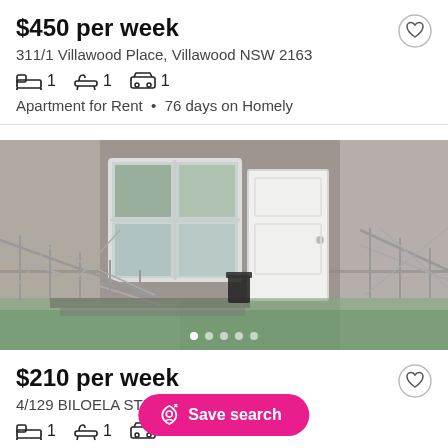$450 per week
311/1 Villawood Place, Villawood NSW 2163
1 bed  1 bath  1 parking
Apartment for Rent • 76 days on Homely
[Figure (photo): Exterior photo of a property showing a porch/balcony with metal railings, a white front door, window, and green painted floor surface. A small black bin is visible near the door.]
$210 per week
4/129 BILOELA STREET, ... NSW 2163
1 bed  1 bath  0 parking